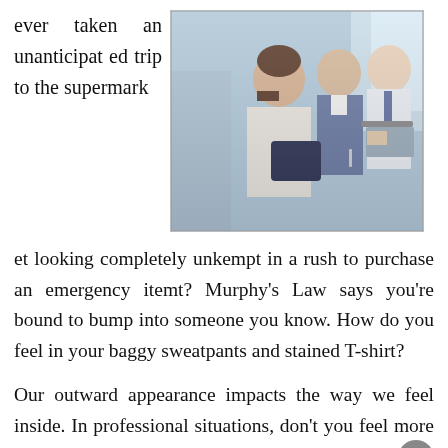ever taken an unanticipated trip to the supermarket
[Figure (photo): Business professionals sitting in a row, attentively listening or observing something, dressed in formal business attire.]
et looking completely unkempt in a rush to purchase an emergency itemt? Murphy's Law says you're bound to bump into someone you know. How do you feel in your baggy sweatpants and stained T-shirt?
Our outward appearance impacts the way we feel inside. In professional situations, don't you feel more assertive in flattering business clothes? Aren't you more likely to voice your opinion when you are